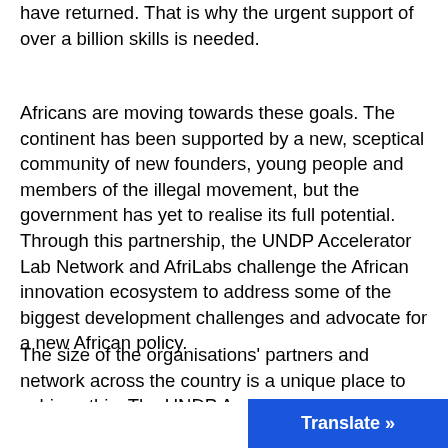have returned. That is why the urgent support of over a billion skills is needed.
Africans are moving towards these goals. The continent has been supported by a new, sceptical community of new founders, young people and members of the illegal movement, but the government has yet to realise its full potential.
Through this partnership, the UNDP Accelerator Lab Network and AfriLabs challenge the African innovation ecosystem to address some of the biggest development challenges and advocate for a new African policy.
The size of the organisations' partners and network across the country is a unique place to achieve this. The UNDP Accelerator Lab network consists of 91 clinics in 115 countries, 35 countries in Africa, and AfriLabs is the largest African network of 320 technolog
Translate »